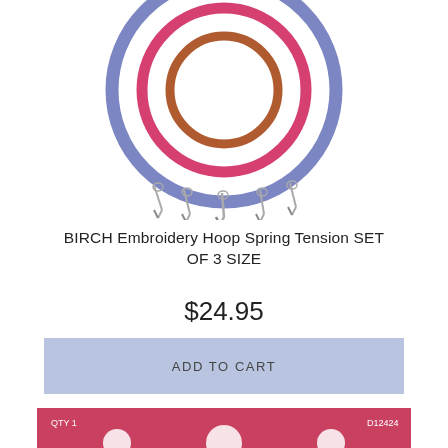[Figure (photo): Three embroidery hoops (red/pink, blue/purple, and orange/brown) stacked with metal spring tension clips at bottom, viewed from above on white background.]
BIRCH Embroidery Hoop Spring Tension SET OF 3 SIZE
$24.95
ADD TO CART
[Figure (photo): Birch Creative Magnetic Seam Guide product packaging. Pink and white card with QTY 1, item number D12424. Says MAGNETIC SEAM GUIDE - Achieves straight or curved seams. BIRCH CREATIVE logo. Bottom text: Nothing to attach, just place the magnetic guide down on the machine bed at the desired distance from the needle.]